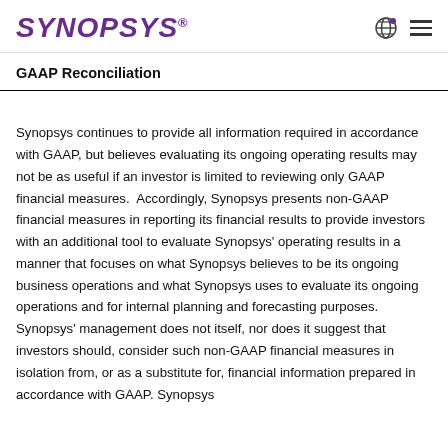Synopsys
GAAP Reconciliation
Synopsys continues to provide all information required in accordance with GAAP, but believes evaluating its ongoing operating results may not be as useful if an investor is limited to reviewing only GAAP financial measures.  Accordingly, Synopsys presents non-GAAP financial measures in reporting its financial results to provide investors with an additional tool to evaluate Synopsys' operating results in a manner that focuses on what Synopsys believes to be its ongoing business operations and what Synopsys uses to evaluate its ongoing operations and for internal planning and forecasting purposes.  Synopsys' management does not itself, nor does it suggest that investors should, consider such non-GAAP financial measures in isolation from, or as a substitute for, financial information prepared in accordance with GAAP. Synopsys...